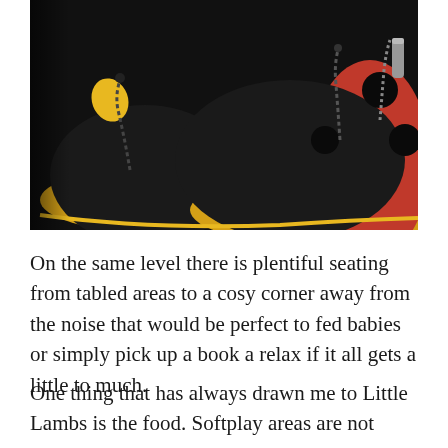[Figure (photo): Close-up photograph of ladybug-shaped toy ride-on vehicles with black domed tops, yellow bases, and red accents with spring antennae, set against a dark background.]
On the same level there is plentiful seating from tabled areas to a cosy corner away from the noise that would be perfect to fed babies or simply pick up a book a relax if it all gets a little to much.
One thing that has always drawn me to Little Lambs is the food. Softplay areas are not usually renowned for the best food but the